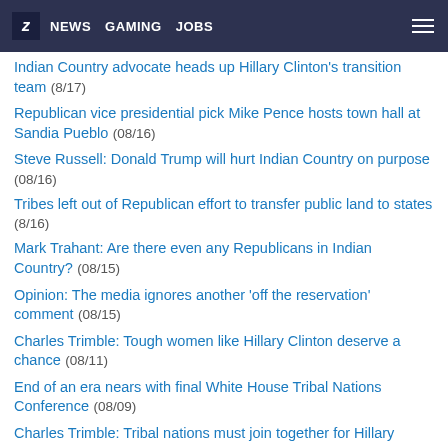Z NEWS GAMING JOBS
Indian Country advocate heads up Hillary Clinton's transition team (8/17)
Republican vice presidential pick Mike Pence hosts town hall at Sandia Pueblo (08/16)
Steve Russell: Donald Trump will hurt Indian Country on purpose (08/16)
Tribes left out of Republican effort to transfer public land to states (8/16)
Mark Trahant: Are there even any Republicans in Indian Country? (08/15)
Opinion: The media ignores another 'off the reservation' comment (08/15)
Charles Trimble: Tough women like Hillary Clinton deserve a chance (08/11)
End of an era nears with final White House Tribal Nations Conference (08/09)
Charles Trimble: Tribal nations must join together for Hillary